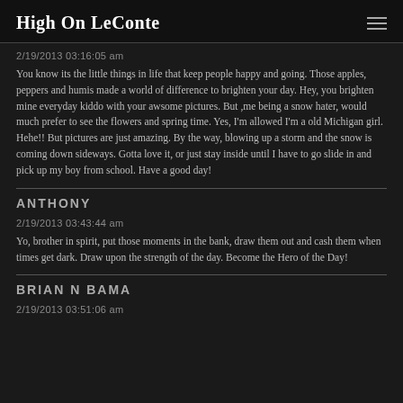High On LeConte
2/19/2013 03:16:05 am
You know its the little things in life that keep people happy and going. Those apples, peppers and humis made a world of difference to brighten your day. Hey, you brighten mine everyday kiddo with your awsome pictures. But ,me being a snow hater, would much prefer to see the flowers and spring time. Yes, I'm allowed I'm a old Michigan girl. Hehe!! But pictures are just amazing. By the way, blowing up a storm and the snow is coming down sideways. Gotta love it, or just stay inside until I have to go slide in and pick up my boy from school. Have a good day!
ANTHONY
2/19/2013 03:43:44 am
Yo, brother in spirit, put those moments in the bank, draw them out and cash them when times get dark. Draw upon the strength of the day. Become the Hero of the Day!
BRIAN N BAMA
2/19/2013 03:51:06 am